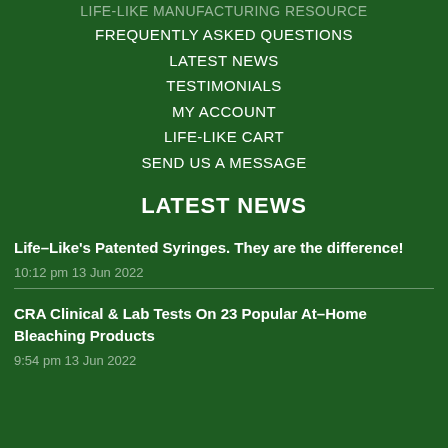FREQUENTLY ASKED QUESTIONS
LATEST NEWS
TESTIMONIALS
MY ACCOUNT
LIFE-LIKE CART
SEND US A MESSAGE
LATEST NEWS
Life–Like's Patented Syringes. They are the difference!
10:12 pm 13 Jun 2022
CRA Clinical & Lab Tests On 23 Popular At–Home Bleaching Products
9:54 pm 13 Jun 2022